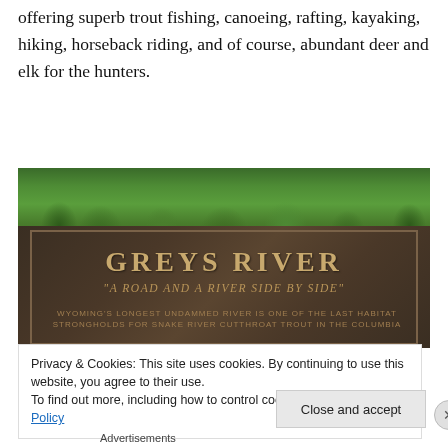offering superb trout fishing, canoeing, rafting, kayaking, hiking, horseback riding, and of course, abundant deer and elk for the hunters.
[Figure (photo): Wooden sign for Greys River reading 'GREYS RIVER - A ROAD AND A RIVER SIDE BY SIDE' with text below 'WYOMING'S LONGEST UNDAMMED RIVER IS ONE OF THE LAST HABITAT STRONGHOLDS FOR SNAKE RIVER CUTTHROAT TROUT IN THE COLUMBIA', surrounded by green trees in background]
Privacy & Cookies: This site uses cookies. By continuing to use this website, you agree to their use.
To find out more, including how to control cookies, see here: Cookie Policy